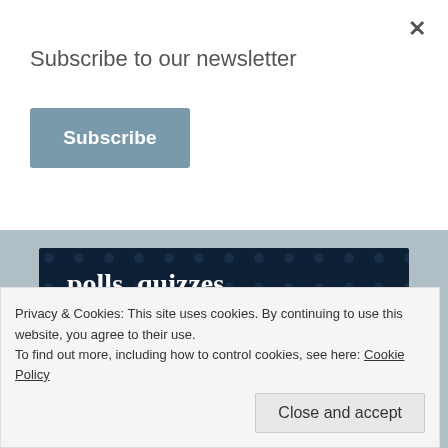Subscribe to our newsletter
Subscribe
[Figure (illustration): Dark navy ad banner for Crowdsignal showing text 'polls, quizzes, and forms.' with a pink 'Start now' button and the Crowdsignal logo in a white dashed circle on the right.]
Privacy & Cookies: This site uses cookies. By continuing to use this website, you agree to their use.
To find out more, including how to control cookies, see here: Cookie Policy
Close and accept